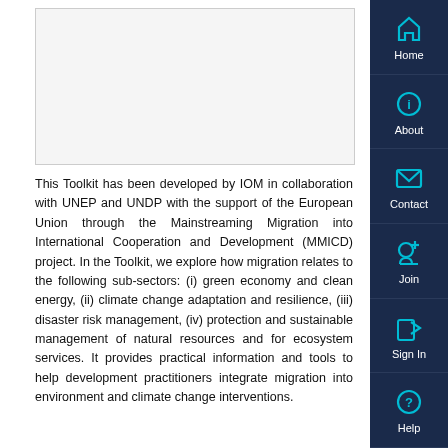[Figure (other): Blank or image placeholder area with border]
This Toolkit has been developed by IOM in collaboration with UNEP and UNDP with the support of the European Union through the Mainstreaming Migration into International Cooperation and Development (MMICD) project. In the Toolkit, we explore how migration relates to the following sub-sectors: (i) green economy and clean energy, (ii) climate change adaptation and resilience, (iii) disaster risk management, (iv) protection and sustainable management of natural resources and for ecosystem services. It provides practical information and tools to help development practitioners integrate migration into environment and climate change interventions.